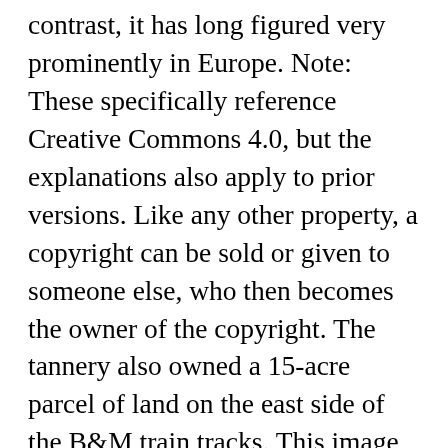contrast, it has long figured very prominently in Europe. Note: These specifically reference Creative Commons 4.0, but the explanations also apply to prior versions. Like any other property, a copyright can be sold or given to someone else, who then becomes the owner of the copyright. The tannery also owned a 15-acre parcel of land on the east side of the B&M train tracks. This image is a black and white print of the famous Antelope Canyon in Arizona, USA. The government refers to these five standards in combination as "prior art." Sold at Christieâ s New York in November 2011, it was the held the world record for most expensive print ever sold until 2014. Associate Counsel, Leasing. Intellectual property is any